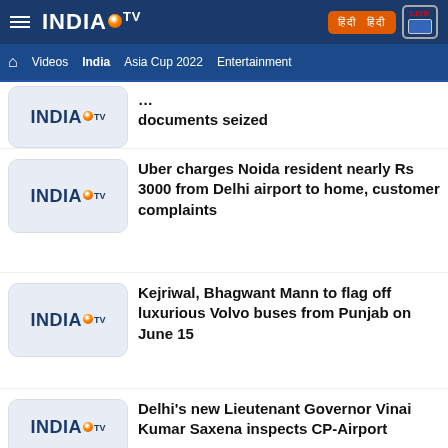INDIA TV — Videos | India | Asia Cup 2022 | Entertainment
documents seized
Uber charges Noida resident nearly Rs 3000 from Delhi airport to home, customer complaints
Kejriwal, Bhagwant Mann to flag off luxurious Volvo buses from Punjab on June 15
Delhi's new Lieutenant Governor Vinai Kumar Saxena inspects CP-Airport